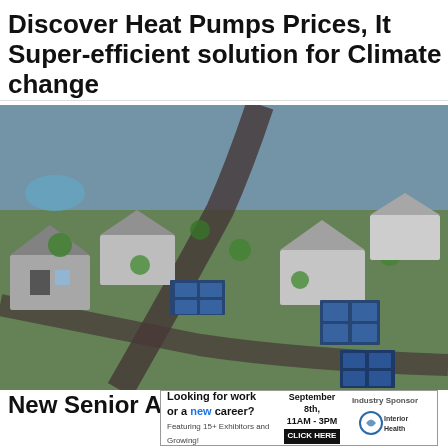Discover Heat Pumps Prices, It Super-efficient solution for Climate change
Heat Pumps | Yahoo! Search | Sponsored
Click Here
[Figure (photo): Aerial drone view of a suburban residential neighborhood with houses featuring solar panels on rooftops, surrounded by green trees and curved streets.]
New Senior Apartments in Ashburn (Take
[Figure (infographic): Advertisement banner: Looking for work or a new career? Featuring 15+ Exhibitors and Growing! September 8th, 11AM-3PM. CLICK HERE. Industry Sponsor: Interior Health logo.]